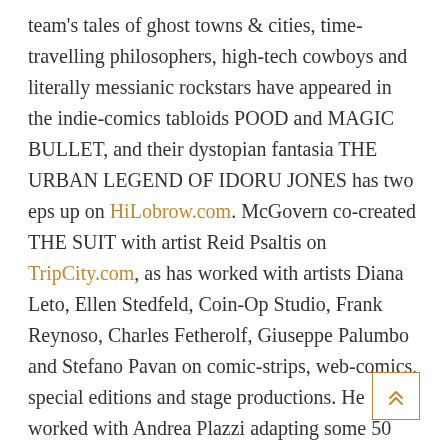team's tales of ghost towns & cities, time-travelling philosophers, high-tech cowboys and literally messianic rockstars have appeared in the indie-comics tabloids POOD and MAGIC BULLET, and their dystopian fantasia THE URBAN LEGEND OF IDORU JONES has two eps up on HiLobrow.com. McGovern co-created THE SUIT with artist Reid Psaltis on TripCity.com, as has worked with artists Diana Leto, Ellen Stedfeld, Coin-Op Studio, Frank Reynoso, Charles Fetherolf, Giuseppe Palumbo and Stefano Pavan on comic-strips, web-comics, special editions and stage productions. He worked with Andrea Plazzi adapting some 50 issues of nine adventure, satire and fairytale series from Italy's GG Studio, released in the U.S. from 2010-12. McGovern and Leandri's debut for Dark Horse Comics, the meta-mythology